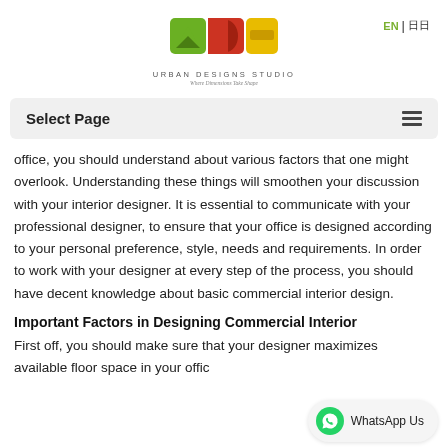[Figure (logo): Urban Designs Studio logo with green, red and yellow abstract shapes, text 'URBAN DESIGNS STUDIO' and tagline 'Where Dimensions Take Shape']
Select Page  ☰
office, you should understand about various factors that one might overlook. Understanding these things will smoothen your discussion with your interior designer. It is essential to communicate with your professional designer, to ensure that your office is designed according to your personal preference, style, needs and requirements. In order to work with your designer at every step of the process, you should have decent knowledge about basic commercial interior design.
Important Factors in Designing Commercial Interior
First off, you should make sure that your designer maximizes available floor space in your office should be organized and there should be no clutter.